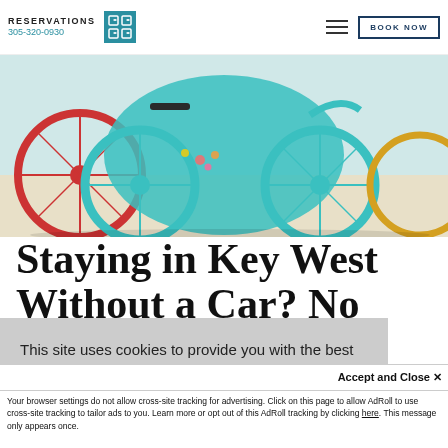RESERVATIONS 305-320-0930
[Figure (photo): Colorful beach cruiser bicycles parked together, teal and red bikes visible]
Staying in Key West Without a Car? No
This site uses cookies to provide you with the best possible experience. You may choose to enable or disable cookies in your browser's policy settings.
Accept and Close ✕
Your browser settings do not allow cross-site tracking for advertising. Click on this page to allow AdRoll to use cross-site tracking to tailor ads to you. Learn more or opt out of this AdRoll tracking by clicking here. This message only appears once.